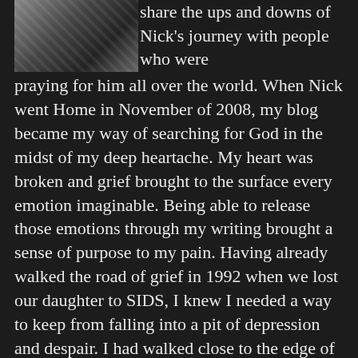[Figure (photo): Partial photo of a person in a patterned top with a watch visible, cropped at top-left]
share the ups and downs of Nick's journey with people who were praying for him all over the world. When Nick went Home in November of 2008, my blog became my way of searching for God in the midst of my deep heartache. My heart was broken and grief brought to the surface every emotion imaginable. Being able to release those emotions through my writing brought a sense of purpose to my pain. Having already walked the road of grief in 1992 when we lost our daughter to SIDS, I knew I needed a way to keep from falling into a pit of depression and despair. I had walked close to the edge of a bottomless pit when we lost our daughter,and I knew I couldn't let myself get that close to the edge again. This blog has been and continues to be my tiny corner of the world where I can share My Heart as I